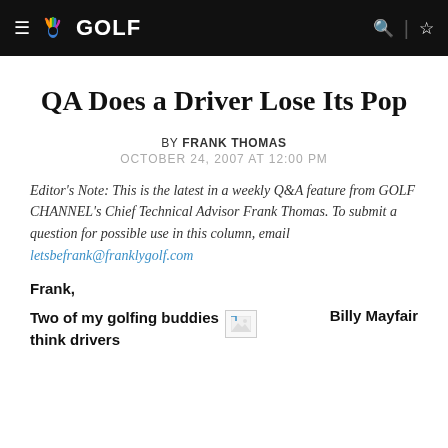≡ NBC GOLF | ☆
QA Does a Driver Lose Its Pop
BY FRANK THOMAS
OCTOBER 24, 2007 AT 12:00 PM
Editor's Note: This is the latest in a weekly Q&A feature from GOLF CHANNEL's Chief Technical Advisor Frank Thomas. To submit a question for possible use in this column, email letsbefrank@franklygolf.com
Frank,
Two of my golfing buddies think drivers
[Figure (photo): Broken image placeholder]
Billy Mayfair